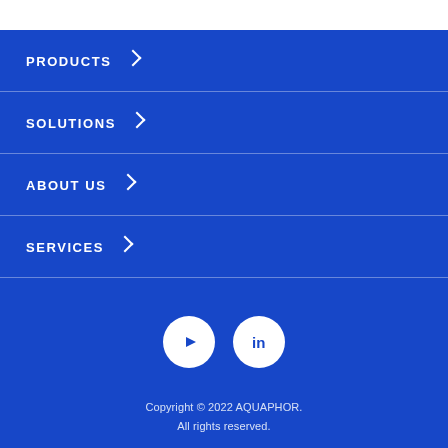PRODUCTS >
SOLUTIONS >
ABOUT US >
SERVICES >
[Figure (logo): YouTube and LinkedIn social media icons as white circles on blue background]
Copyright © 2022 AQUAPHOR. All rights reserved.
FRANCE